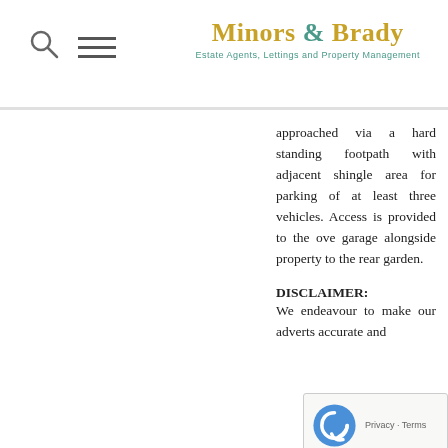Minors & Brady — Estate Agents, Lettings and Property Management
approached via a hard standing footpath with adjacent shingle area for parking of at least three vehicles. Access is provided to the over garage alongside property to the rear garden.
DISCLAIMER: We endeavour to make our adverts accurate and